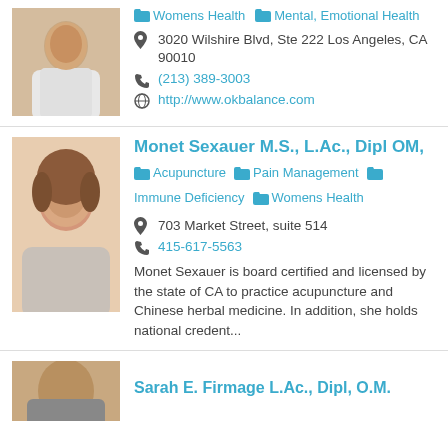[Figure (photo): Photo of a male provider in a white coat]
Womens Health | Mental, Emotional Health
3020 Wilshire Blvd, Ste 222 Los Angeles, CA 90010
(213) 389-3003
http://www.okbalance.com
[Figure (photo): Photo of a young woman with auburn hair]
Monet Sexauer M.S., L.Ac., Dipl OM,
Acupuncture | Pain Management | Immune Deficiency | Womens Health
703 Market Street, suite 514
415-617-5563
Monet Sexauer is board certified and licensed by the state of CA to practice acupuncture and Chinese herbal medicine. In addition, she holds national credent...
[Figure (photo): Partial photo of Sarah E. Firmage]
Sarah E. Firmage L.Ac., Dipl, O.M.